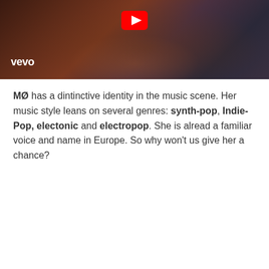[Figure (screenshot): A Vevo music video thumbnail showing a woman with red/auburn hair in dark lighting, with a YouTube play button at the top center and the Vevo logo in the bottom left corner.]
MØ has a dintinctive identity in the music scene. Her music style leans on several genres: synth-pop, Indie-Pop, electonic and electropop. She is alread a familiar voice and name in Europe. So why won't us give her a chance?